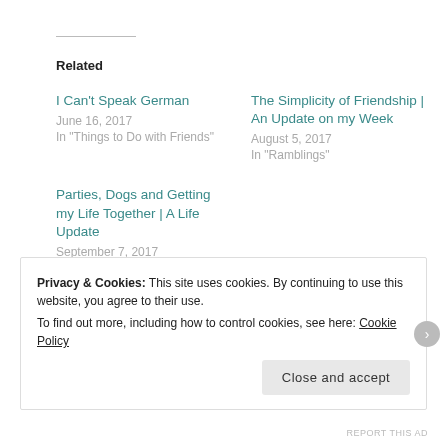Related
I Can't Speak German
June 16, 2017
In "Things to Do with Friends"
The Simplicity of Friendship | An Update on my Week
August 5, 2017
In "Ramblings"
Parties, Dogs and Getting my Life Together | A Life Update
September 7, 2017
In "Disability"
Privacy & Cookies: This site uses cookies. By continuing to use this website, you agree to their use.
To find out more, including how to control cookies, see here: Cookie Policy
Close and accept